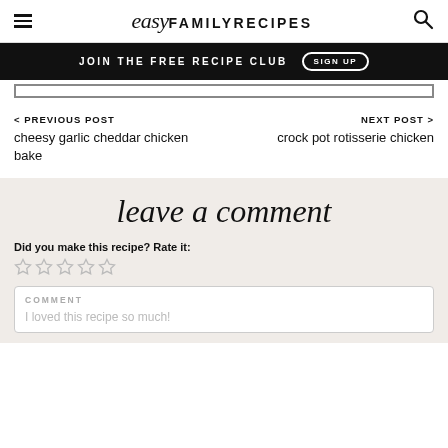easy FAMILY RECIPES
JOIN THE FREE RECIPE CLUB  SIGN UP
< PREVIOUS POST
cheesy garlic cheddar chicken bake
NEXT POST >
crock pot rotisserie chicken
leave a comment
Did you make this recipe? Rate it:
★☆☆☆☆
COMMENT
I loved this recipe so much!